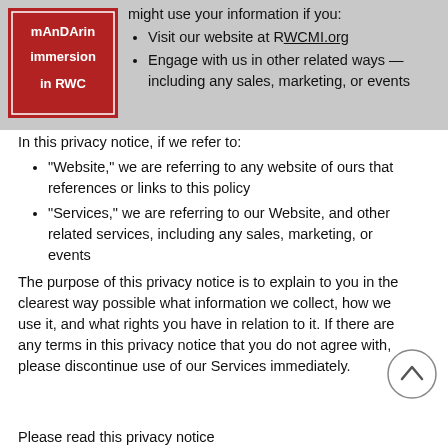[Figure (logo): Mandarin Immersion in RWC logo — red square with white text]
Visit our website at RWCMI.org
Engage with us in other related ways — including any sales, marketing, or events
In this privacy notice, if we refer to:
"Website," we are referring to any website of ours that references or links to this policy
"Services," we are referring to our Website, and other related services, including any sales, marketing, or events
The purpose of this privacy notice is to explain to you in the clearest way possible what information we collect, how we use it, and what rights you have in relation to it. If there are any terms in this privacy notice that you do not agree with, please discontinue use of our Services immediately.
Please read this privacy notice